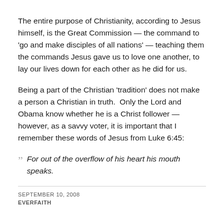The entire purpose of Christianity, according to Jesus himself, is the Great Commission — the command to 'go and make disciples of all nations' — teaching them the commands Jesus gave us to love one another, to lay our lives down for each other as he did for us.
Being a part of the Christian 'tradition' does not make a person a Christian in truth.  Only the Lord and Obama know whether he is a Christ follower — however, as a savvy voter, it is important that I remember these words of Jesus from Luke 6:45:
For out of the overflow of his heart his mouth speaks.
SEPTEMBER 10, 2008
EVERFAITH